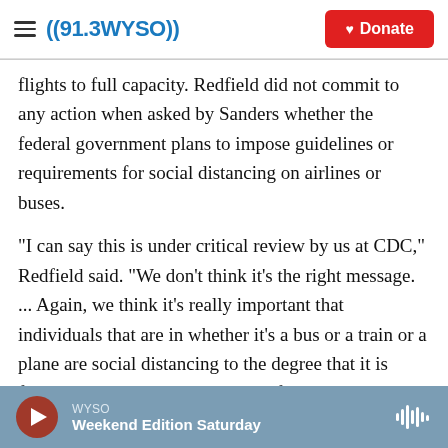((91.3WYSO)) | Donate
flights to full capacity. Redfield did not commit to any action when asked by Sanders whether the federal government plans to impose guidelines or requirements for social distancing on airlines or buses.
"I can say this is under critical review by us at CDC," Redfield said. "We don't think it's the right message. ... Again, we think it's really important that individuals that are in whether it's a bus or a train or a plane are social distancing to the degree that it is feasible or at least have a reliable face covering."
WYSO | Weekend Edition Saturday